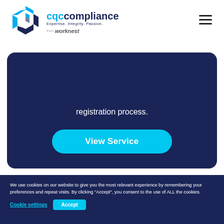[Figure (logo): CQC Compliance logo with hexagon icon, text 'cqccompliance', tagline 'Expertise. Integrity. Passion.' and 'from worknest']
registration process.
View Service
We use cookies on our website to give you the most relevant experience by remembering your preferences and repeat visits. By clicking "Accept", you consent to the use of ALL the cookies.
Cookie settings
Accept